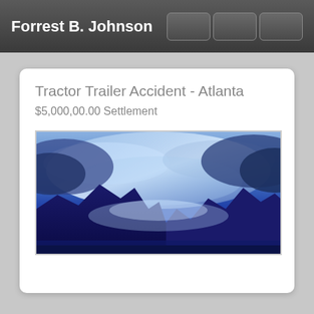Forrest B. Johnson
Tractor Trailer Accident - Atlanta
$5,000,00.00 Settlement
[Figure (photo): Wide panoramic photo of a dark blue stormy sky over shadowed mountain silhouettes, with dramatic blue-toned clouds and mist.]